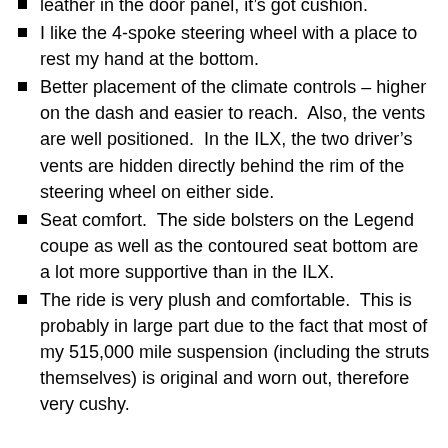leather in the door panel, it's got cushion.
I like the 4-spoke steering wheel with a place to rest my hand at the bottom.
Better placement of the climate controls – higher on the dash and easier to reach.  Also, the vents are well positioned.  In the ILX, the two driver's vents are hidden directly behind the rim of the steering wheel on either side.
Seat comfort.  The side bolsters on the Legend coupe as well as the contoured seat bottom are a lot more supportive than in the ILX.
The ride is very plush and comfortable.  This is probably in large part due to the fact that most of my 515,000 mile suspension (including the struts themselves) is original and worn out, therefore very cushy.